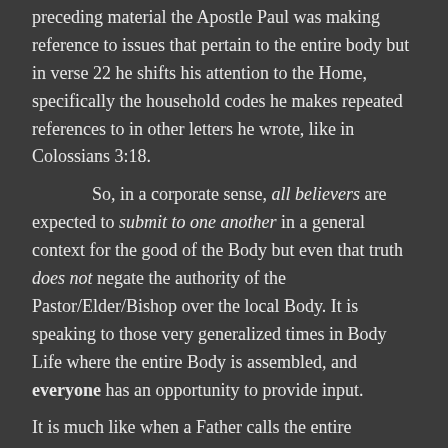preceding material the Apostle Paul was making reference to issues that pertain to the entire body but in verse 22 he shifts his attention to the Home, specifically the household codes he makes repeated references to in other letters he wrote, like in Colossians 3:18.
So, in a corporate sense, all believers are expected to submit to one another in a general context for the good of the Body but even that truth does not negate the authority of the Pastor/Elder/Bishop over the local Body. It is speaking to those very generalized times in Body Life where the entire Body is assembled, and everyone has an opportunity to provide input.
It is much like when a Father calls the entire